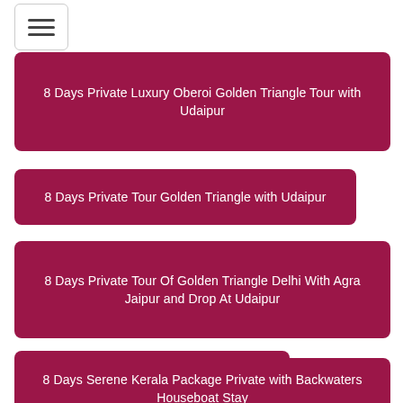8 Days Private Luxury Oberoi Golden Triangle Tour with Udaipur
8 Days Private Tour Golden Triangle with Udaipur
8 Days Private Tour Of Golden Triangle Delhi With Agra Jaipur and Drop At Udaipur
8 Days Serene Kerala Package Private
8 Days Serene Kerala Package Private with Backwaters Houseboat Stay